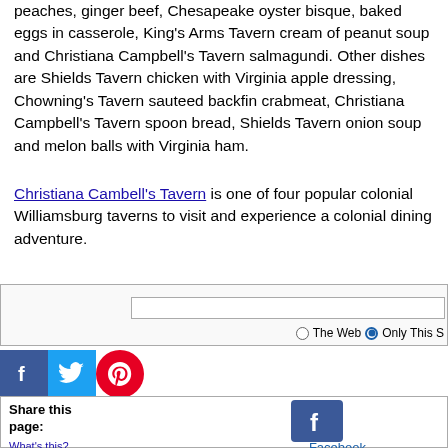peaches, ginger beef, Chesapeake oyster bisque, baked eggs in casserole, King's Arms Tavern cream of peanut soup and Christiana Campbell's Tavern salmagundi. Other dishes are Shields Tavern chicken with Virginia apple dressing, Chowning's Tavern sauteed backfin crabmeat, Christiana Campbell's Tavern spoon bread, Shields Tavern onion soup and melon balls with Virginia ham.
Christiana Cambell's Tavern is one of four popular colonial Williamsburg taverns to visit and experience a colonial dining adventure.
[Figure (screenshot): Search box with radio buttons for 'The Web' and 'Only This S']
[Figure (screenshot): Social media icons: Facebook, Twitter, Pinterest]
Share this page: What's this?
[Figure (screenshot): Facebook share icon and Facebook label]